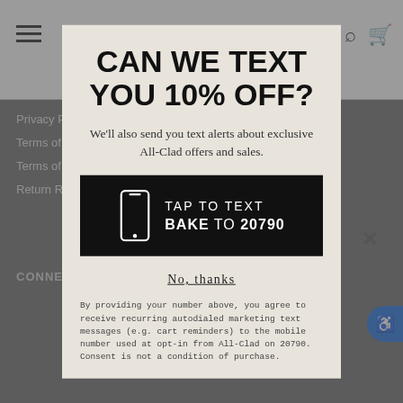CAN WE TEXT YOU 10% OFF?
We'll also send you text alerts about exclusive All-Clad offers and sales.
[Figure (infographic): Black button with phone icon and text: TAP TO TEXT BAKE TO 20790]
No, thanks
By providing your number above, you agree to receive recurring autodialed marketing text messages (e.g. cart reminders) to the mobile number used at opt-in from All-Clad on 20790. Consent is not a condition of purchase.